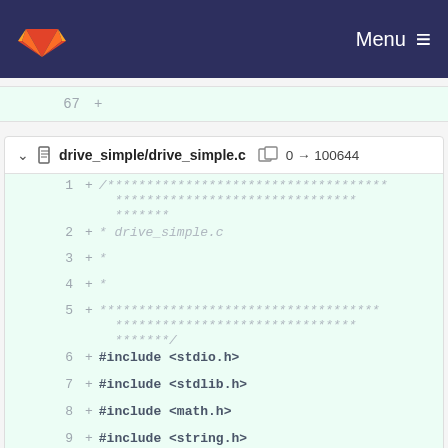GitLab navigation bar with Menu
[Figure (screenshot): GitLab diff view showing drive_simple/drive_simple.c file, lines 1-12, all added (+), including comment block and #include statements]
67  +
drive_simple/drive_simple.c  0 → 100644
1  + /*************************************** *************************************** *******
2  + * drive_simple.c
3  + * *
4  + * *
5  + *************************************** *************************************** *******/
6  + #include <stdio.h>
7  + #include <stdlib.h>
8  + #include <math.h>
9  + #include <string.h>
10 + #include <unistd.h>
11 + #include <sys/stat.h>
12 + #include <sys/types.h>